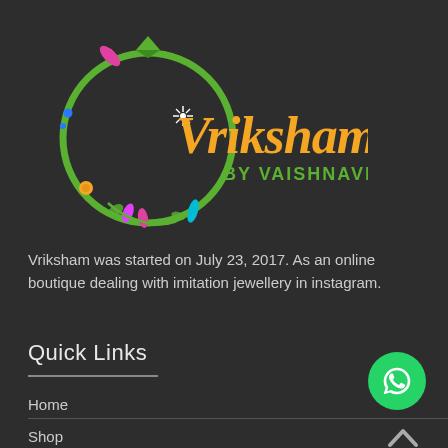[Figure (logo): Vriksham by Vaishnavi logo — a green circular ring with a diamond on top, colorful floral decorations, and the stylized text 'Vriksham' in orange/gold with 'BY VAISHNAVI' in green below]
Vriksham was started on July 23, 2017. As an online boutique dealing with imitation jewellery in instagram.
Quick Links
Home
Shop